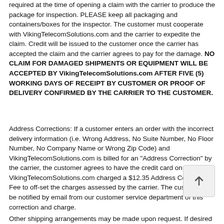required at the time of opening a claim with the carrier to produce the package for inspection. PLEASE keep all packaging and containers/boxes for the inspector. The customer must cooperate with VikingTelecomSolutions.com and the carrier to expedite the claim. Credit will be issued to the customer once the carrier has accepted the claim and the carrier agrees to pay for the damage. NO CLAIM FOR DAMAGED SHIPMENTS OR EQUIPMENT WILL BE ACCEPTED BY VikingTelecomSolutions.com AFTER FIVE (5) WORKING DAYS OF RECEIPT BY CUSTOMER OR PROOF OF DELIVERY CONFIRMED BY THE CARRIER TO THE CUSTOMER.
Address Corrections: If a customer enters an order with the incorrect delivery information (i.e. Wrong Address, No Suite Number, No Floor Number, No Company Name or Wrong Zip Code) and VikingTelecomSolutions.com is billed for an "Address Correction" by the carrier, the customer agrees to have the credit card on file with VikingTelecomSolutions.com charged a $12.35 Address Correction Fee to off-set the charges assessed by the carrier. The customer will be notified by email from our customer service department of this correction and charge.
Other shipping arrangements may be made upon request. If desired